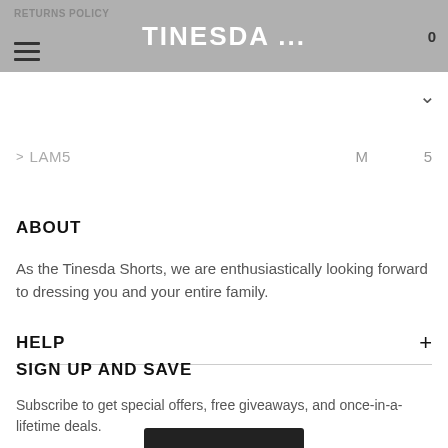RETURNS POLICY  |  TINESDA ...  |  [user icon] [cart icon] 0
> LAM5   M   5
ABOUT
As the Tinesda Shorts, we are enthusiastically looking forward to dressing you and your entire family.
HELP
SIGN UP AND SAVE
Subscribe to get special offers, free giveaways, and once-in-a-lifetime deals.